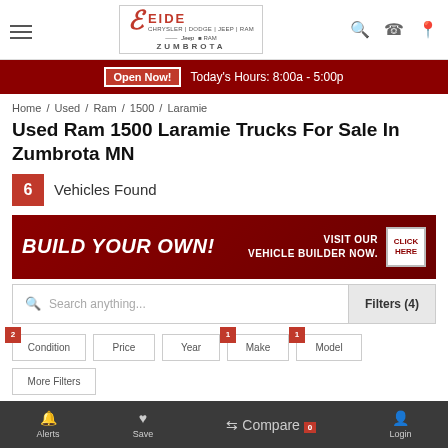Eide Chrysler Dodge Jeep Ram Zumbrota — Navigation Header
Open Now! Today's Hours: 8:00a - 5:00p
Home / Used / Ram / 1500 / Laramie
Used Ram 1500 Laramie Trucks For Sale In Zumbrota MN
6 Vehicles Found
[Figure (infographic): Red promotional banner reading BUILD YOUR OWN! VISIT OUR VEHICLE BUILDER NOW. CLICK HERE]
Search anything... Filters (4)
Condition (2) | Price | Year | Make (1) | Model (1) | More Filters
PRICE | LOW TO HIGH
Alerts | Save | Compare 0 | Login